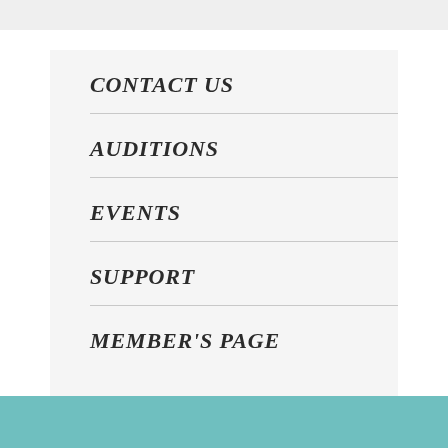CONTACT US
AUDITIONS
EVENTS
SUPPORT
MEMBER'S PAGE